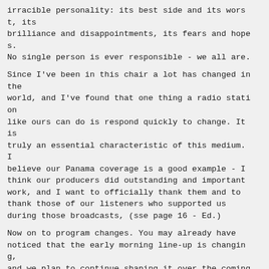irracible personality: its best side and its worst, its brilliance and disappointments, its fears and hopes.
No single person is ever responsible - we all are.
Since I've been in this chair a lot has changed in the world, and I've found that one thing a radio station like ours can do is respond quickly to change. It is truly an essential characteristic of this medium. I believe our Panama coverage is a good example - I think our producers did outstanding and important work, and I want to officially thank them and to thank those of our listeners who supported us during those broadcasts, (sse page 16 - Ed.)
Now on to program changes. You may already have noticed that the early morning line-up is changing, and we plan to continue shaping it over the coming months. We'll be experimenting with existing and